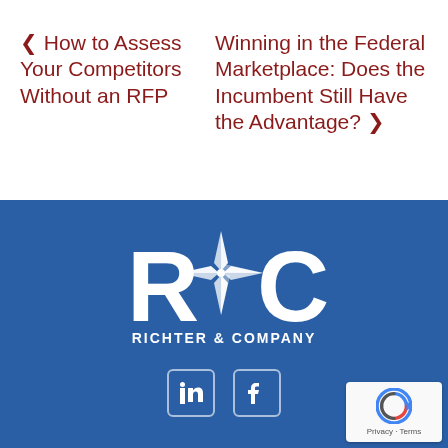< How to Assess Your Competitors Without an RFP
Winning in the Federal Marketplace: Does the Incumbent Still Have the Advantage? >
[Figure (logo): Richter & Company logo — white R&C monogram with star/compass graphic on blue background]
[Figure (illustration): LinkedIn and Facebook social media icons in white outline style]
[Figure (illustration): reCAPTCHA badge with Privacy and Terms text]